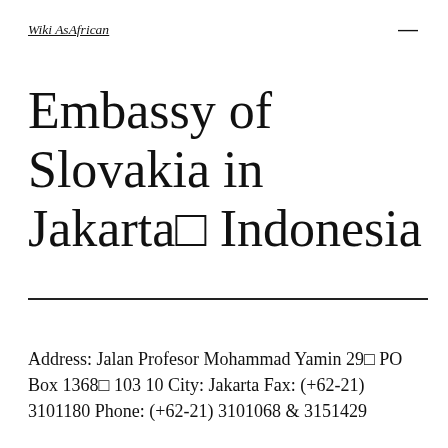Wiki AsAfrican
Embassy of Slovakia in Jakarta□ Indonesia
Address: Jalan Profesor Mohammad Yamin 29□ PO Box 1368□ 103 10 City: Jakarta Fax: (+62-21) 3101180 Phone: (+62-21) 3101068 & 3151429